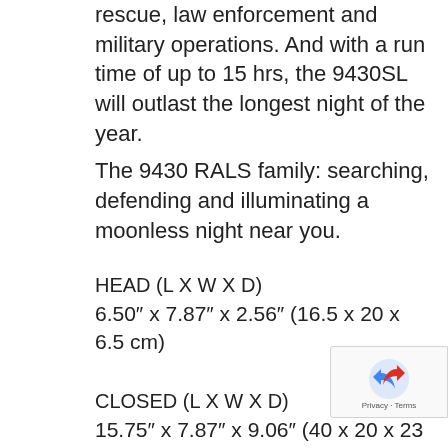rescue, law enforcement and military operations. And with a run time of up to 15 hrs, the 9430SL will outlast the longest night of the year.
The 9430 RALS family: searching, defending and illuminating a moonless night near you.
HEAD (L X W X D)
6.50″ x 7.87″ x 2.56″ (16.5 x 20 x 6.5 cm)
CLOSED (L X W X D)
15.75″ x 7.87″ x 9.06″ (40 x 20 x 23 cm)